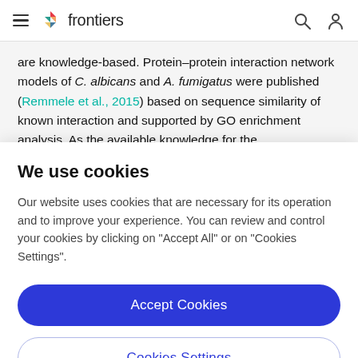frontiers
are knowledge-based. Protein–protein interaction network models of C. albicans and A. fumigatus were published (Remmele et al., 2015) based on sequence similarity of known interaction and supported by GO enrichment analysis. As the available knowledge for the
We use cookies
Our website uses cookies that are necessary for its operation and to improve your experience. You can review and control your cookies by clicking on "Accept All" or on "Cookies Settings".
Accept Cookies
Cookies Settings